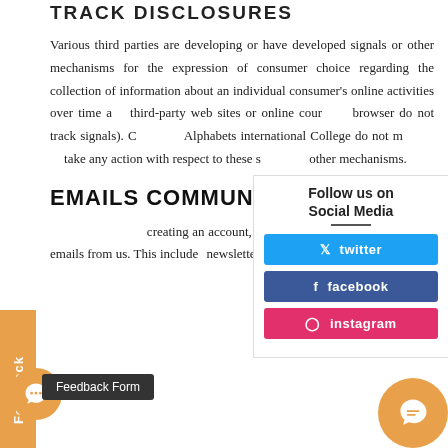TRACK DISCLOSURES
Various third parties are developing or have developed signals or other mechanisms for the expression of consumer choice regarding the collection of information about an individual consumer's online activities over time and third-party web sites or online courses (browser do not track signals). Currently, Alphabets international College do not monitor or take any action with respect to these signals or other mechanisms.
[Figure (infographic): Follow us on Social Media panel with Twitter, Facebook, and Instagram buttons]
EMAILS COMMUNICATIONS
By creating an account, you consent to receive commercial emails from us. This includes newsletters and offers. Users from certain